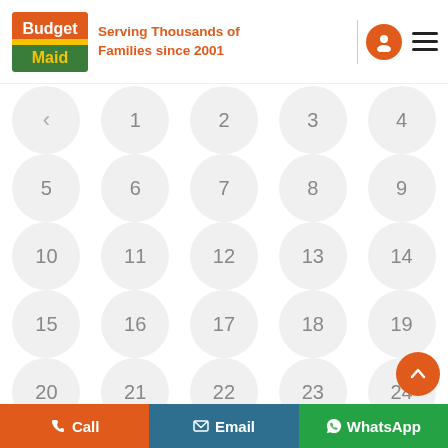[Figure (logo): Budget Maid logo with orange and green colors]
Serving Thousands of Families since 2001
[Figure (infographic): A calendar grid showing days 1-29 with circular buttons, navigation arrow on first cell, and scroll-to-top button]
Call | Email | WhatsApp